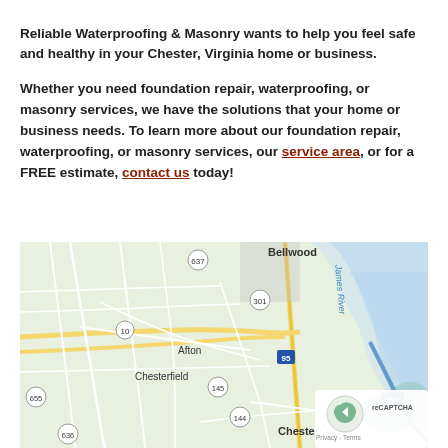Reliable Waterproofing & Masonry wants to help you feel safe and healthy in your Chester, Virginia home or business.
Whether you need foundation repair, waterproofing, or masonry services, we have the solutions that your home or business needs. To learn more about our foundation repair, waterproofing, or masonry services, our service area, or for a FREE estimate, contact us today!
[Figure (map): Google Maps screenshot showing Chester, Virginia area including Bellwood, Afton, Chesterfield, with route markers 637, 301, 10, 145, 144, 95, 295, 655, 636, 710 visible. James River shown. reCAPTCHA Privacy/Terms overlay in bottom right.]